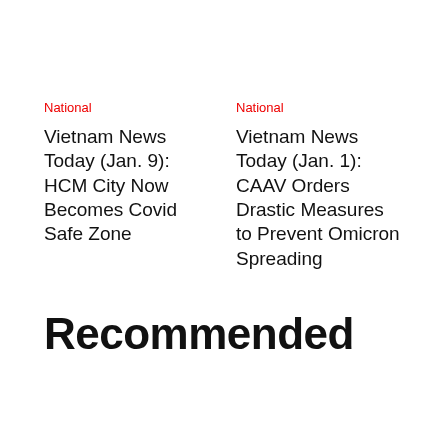National
Vietnam News Today (Jan. 9): HCM City Now Becomes Covid Safe Zone
National
Vietnam News Today (Jan. 1): CAAV Orders Drastic Measures to Prevent Omicron Spreading
Recommended